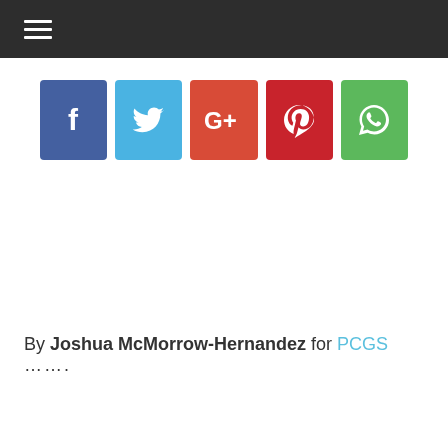☰ (hamburger menu icon)
[Figure (infographic): Row of five social media share buttons: Facebook (blue), Twitter (light blue), Google+ (orange-red), Pinterest (dark red), WhatsApp (green)]
By Joshua McMorrow-Hernandez for PCGS …….